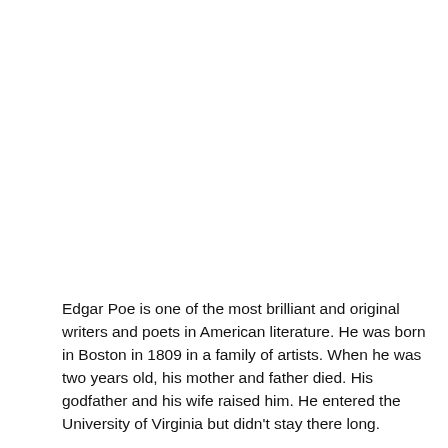Edgar Poe is one of the most brilliant and original writers and poets in American literature. He was born in Boston in 1809 in a family of artists. When he was two years old, his mother and father died. His godfather and his wife raised him. He entered the University of Virginia but didn't stay there long.
Edgar Poe published his first book of poems,